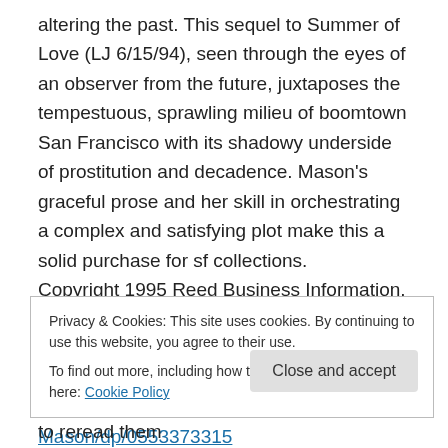altering the past. This sequel to Summer of Love (LJ 6/15/94), seen through the eyes of an observer from the future, juxtaposes the tempestuous, sprawling milieu of boomtown San Francisco with its shadowy underside of prostitution and decadence. Mason's graceful prose and her skill in orchestrating a complex and satisfying plot make this a solid purchase for sf collections. Copyright 1995 Reed Business Information, Inc. This is from a reader:
https://www.amazon.ca/Golden-Nineties-Lisa-Mason/dp/0553373315
Privacy & Cookies: This site uses cookies. By continuing to use this website, you agree to their use.
To find out more, including how to control cookies, see here: Cookie Policy
Close and accept
Nineties both have this quality – you want to reread them